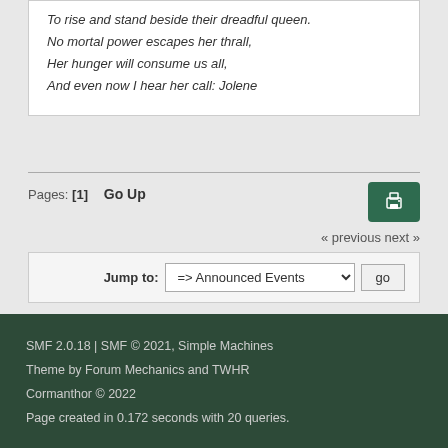To rise and stand beside their dreadful queen.
No mortal power escapes her thrall,
Her hunger will consume us all,
And even now I hear her call: Jolene
Pages: [1]   Go Up
« previous next »
Jump to: => Announced Events  go
SMF 2.0.18 | SMF © 2021, Simple Machines
Theme by Forum Mechanics and TWHR
Cormanthor © 2022
Page created in 0.172 seconds with 20 queries.